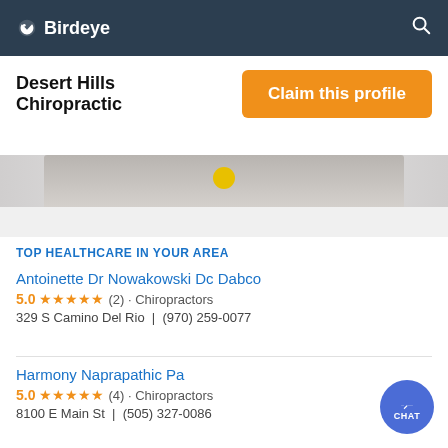Birdeye
Desert Hills Chiropractic
Claim this profile
[Figure (photo): Partial image strip showing a banner photo]
TOP HEALTHCARE IN YOUR AREA
Antoinette Dr Nowakowski Dc Dabco
5.0 ★★★★★ (2) · Chiropractors
329 S Camino Del Rio  |  (970) 259-0077
Harmony Naprapathic Pa
5.0 ★★★★★ (4) · Chiropractors
8100 E Main St  |  (505) 327-0086